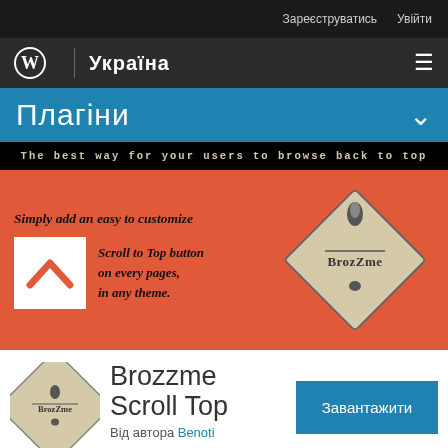Зареєструватись  Увійти
[Figure (logo): WordPress logo and Ukraine navigation bar with hamburger menu]
Плагіни
[Figure (screenshot): Brozzme Scroll Top plugin banner: black bar with text 'The best way for your users to browse back to top', orange background with scroll-to-top icon, tagline text, and BrozZme diamond logo]
Brozzme Scroll Top
Від автора Benoti